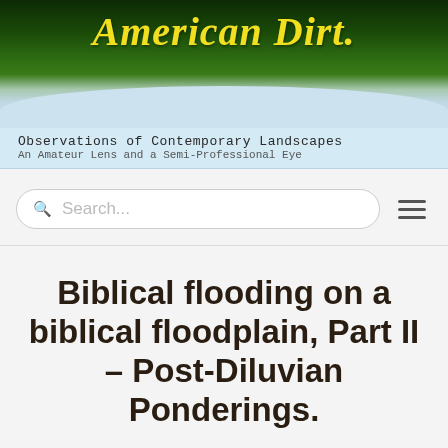[Figure (photo): Blog header banner showing aerial landscape photograph with dark green fields and light blue sky, with 'American Dirt.' written in yellow handwritten/cursive script]
Observations of Contemporary Landscapes
An Amateur Lens and a Semi-Professional Eye
Search...
Biblical flooding on a biblical floodplain, Part II – Post-Diluvian Ponderings.
December 15, 2015